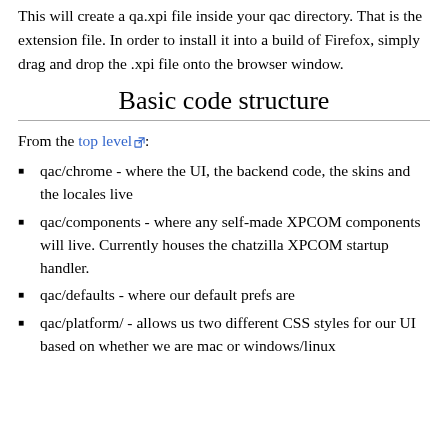This will create a qa.xpi file inside your qac directory. That is the extension file. In order to install it into a build of Firefox, simply drag and drop the .xpi file onto the browser window.
Basic code structure
From the top level:
qac/chrome - where the UI, the backend code, the skins and the locales live
qac/components - where any self-made XPCOM components will live. Currently houses the chatzilla XPCOM startup handler.
qac/defaults - where our default prefs are
qac/platform/ - allows us two different CSS styles for our UI based on whether we are mac or windows/linux